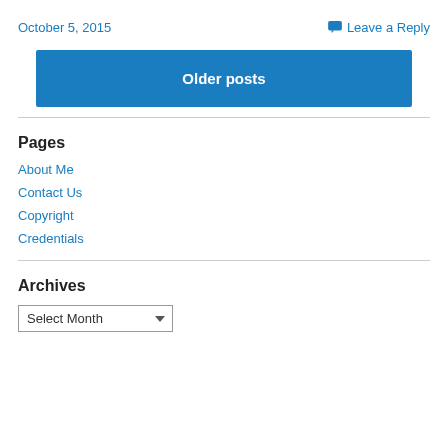October 5, 2015
Leave a Reply
Older posts
Pages
About Me
Contact Us
Copyright
Credentials
Archives
Select Month